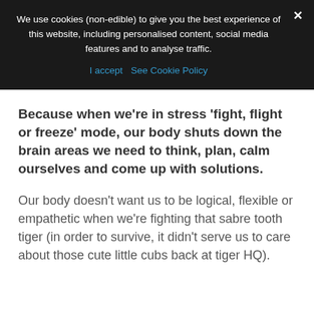We use cookies (non-edible) to give you the best experience of this website, including personalised content, social media features and to analyse traffic.
I accept  See Cookie Policy
Because when we’re in stress ‘fight, flight or freeze’ mode, our body shuts down the brain areas we need to think, plan, calm ourselves and come up with solutions.
Our body doesn’t want us to be logical, flexible or empathetic when we’re fighting that sabre tooth tiger (in order to survive, it didn’t serve us to care about those cute little cubs back at tiger HQ).